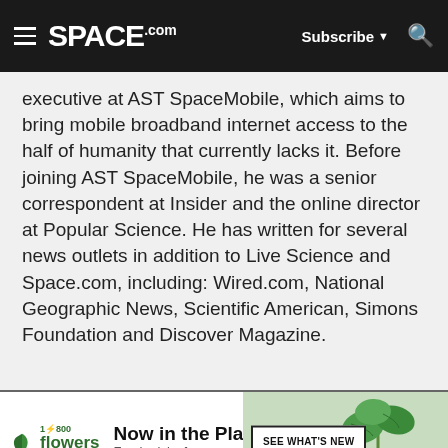SPACE.com — Subscribe | Search
executive at AST SpaceMobile, which aims to bring mobile broadband internet access to the half of humanity that currently lacks it. Before joining AST SpaceMobile, he was a senior correspondent at Insider and the online director at Popular Science. He has written for several news outlets in addition to Live Science and Space.com, including: Wired.com, National Geographic News, Scientific American, Simons Foundation and Discover Magazine.
[Figure (advertisement): 1-800-flowers.com advertisement banner. Text reads: Now in the Plant Shop. Fresh picks for summer. Button: SEE WHAT'S NEW. Image of a potted monstera plant on the right.]